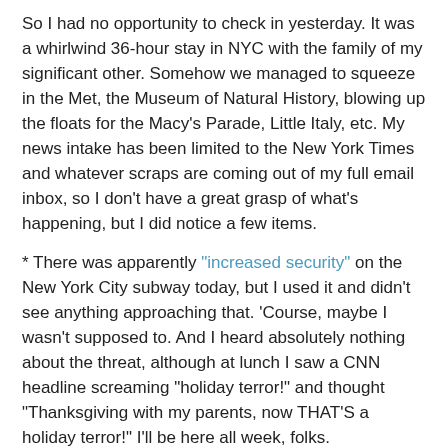So I had no opportunity to check in yesterday. It was a whirlwind 36-hour stay in NYC with the family of my significant other. Somehow we managed to squeeze in the Met, the Museum of Natural History, blowing up the floats for the Macy's Parade, Little Italy, etc. My news intake has been limited to the New York Times and whatever scraps are coming out of my full email inbox, so I don't have a great grasp of what's happening, but I did notice a few items.
* There was apparently "increased security" on the New York City subway today, but I used it and didn't see anything approaching that. 'Course, maybe I wasn't supposed to. And I heard absolutely nothing about the threat, although at lunch I saw a CNN headline screaming "holiday terror!" and thought "Thanksgiving with my parents, now THAT'S a holiday terror!" I'll be here all week, folks.
* There was some real terrorism today.
Terrorists armed with automatic weapons, bombs and grenades attacked at several sites in Mumbaia. We know the scale and details...